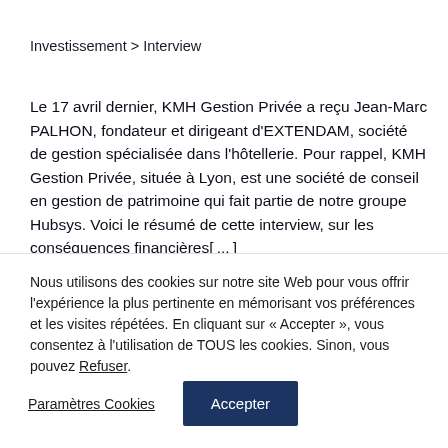Investissement > Interview
Le 17 avril dernier, KMH Gestion Privée a reçu Jean-Marc PALHON, fondateur et dirigeant d'EXTENDAM, société de gestion spécialisée dans l'hôtellerie. Pour rappel, KMH Gestion Privée, située à Lyon, est une société de conseil en gestion de patrimoine qui fait partie de notre groupe Hubsys. Voici le résumé de cette interview, sur les conséquences financières[...]
Nous utilisons des cookies sur notre site Web pour vous offrir l'expérience la plus pertinente en mémorisant vos préférences et les visites répétées. En cliquant sur «Accepter», vous consentez à l'utilisation de TOUS les cookies. Sinon, vous pouvez Refuser.
Paramètres Cookies
Accepter